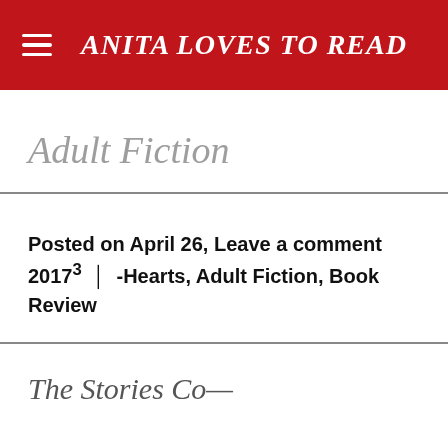ANITA LOVES TO READ
Adult Fiction
Posted on April 26, Leave a comment 20173 | -Hearts, Adult Fiction, Book Review